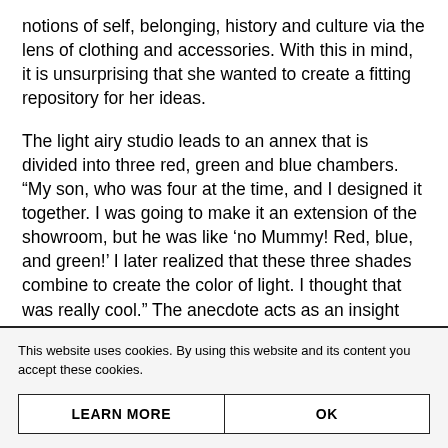notions of self, belonging, history and culture via the lens of clothing and accessories. With this in mind, it is unsurprising that she wanted to create a fitting repository for her ideas.
The light airy studio leads to an annex that is divided into three red, green and blue chambers. “My son, who was four at the time, and I designed it together. I was going to make it an extension of the showroom, but he was like ‘no Mummy! Red, blue, and green!’ I later realized that these three shades combine to create the color of light. I thought that was really cool.” The anecdote acts as an insight into Ogisi’s practice which has
This website uses cookies. By using this website and its content you accept these cookies.
| LEARN MORE | OK |